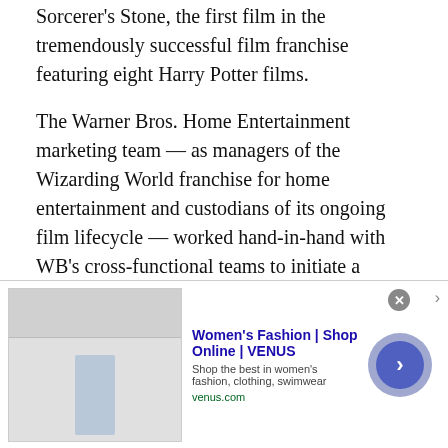Sorcerer's Stone, the first film in the tremendously successful film franchise featuring eight Harry Potter films.
The Warner Bros. Home Entertainment marketing team — as managers of the Wizarding World franchise for home entertainment and custodians of its ongoing film lifecycle — worked hand-in-hand with WB's cross-functional teams to initiate a strategy to celebrate this momentous occasion, secured buy-in from key stakeholders, and supported a year-long, global, enterprise-wide effort.
WBHE commissioned and released Harry Potter and the Sorcerer's Stone: Magical Movie Mode on digital
[Figure (screenshot): Advertisement banner: Women's Fashion | Shop Online | VENUS. Shows a fashion website screenshot with a woman in white outfit, tagline 'Shop the best in women's fashion, clothing, swimwear', URL venus.com, with a blue circular arrow button and close button.]